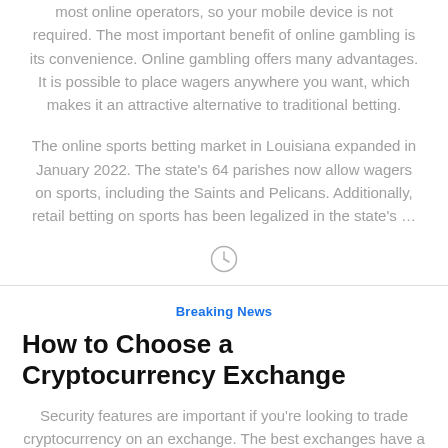most online operators, so your mobile device is not required. The most important benefit of online gambling is its convenience. Online gambling offers many advantages. It is possible to place wagers anywhere you want, which makes it an attractive alternative to traditional betting.
The online sports betting market in Louisiana expanded in January 2022. The state's 64 parishes now allow wagers on sports, including the Saints and Pelicans. Additionally, retail betting on sports has been legalized in the state's ...
[Figure (other): Clock icon indicating time or loading]
Breaking News
How to Choose a Cryptocurrency Exchange
Security features are important if you're looking to trade cryptocurrency on an exchange. The best exchanges have a